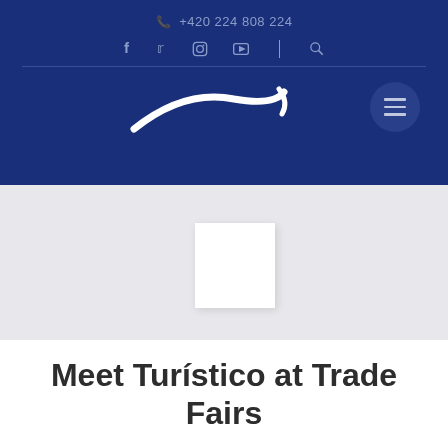+420 224 808 224
[Figure (logo): White curved swoosh logo on dark blue background with social media icons (f, Twitter, Instagram, YouTube) and search icon]
[Figure (photo): Light gray banner section with a small white placeholder image rectangle in the center]
Meet Turístico at Trade Fairs